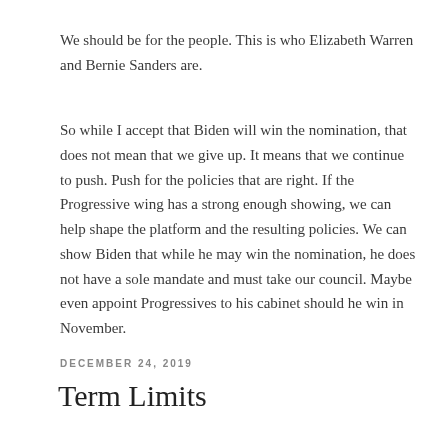We should be for the people. This is who Elizabeth Warren and Bernie Sanders are.
So while I accept that Biden will win the nomination, that does not mean that we give up. It means that we continue to push. Push for the policies that are right. If the Progressive wing has a strong enough showing, we can help shape the platform and the resulting policies. We can show Biden that while he may win the nomination, he does not have a sole mandate and must take our council. Maybe even appoint Progressives to his cabinet should he win in November.
DECEMBER 24, 2019
Term Limits